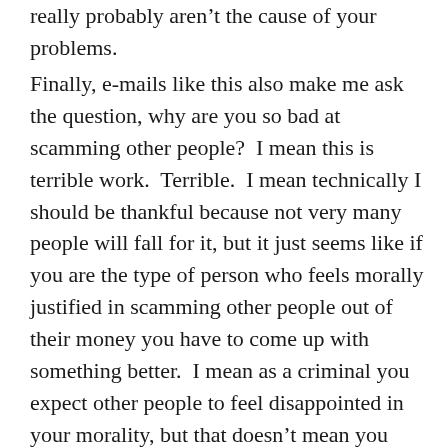really probably aren't the cause of your problems.
Finally, e-mails like this also make me ask the question, why are you so bad at scamming other people?  I mean this is terrible work.  Terrible.  I mean technically I should be thankful because not very many people will fall for it, but it just seems like if you are the type of person who feels morally justified in scamming other people out of their money you have to come up with something better.  I mean as a criminal you expect other people to feel disappointed in your morality, but that doesn't mean you can't have pride in your work.  Because now I am also just disappointed in your intelligence.  I mean everybody will still think you're horrible, but couldn't you at least make people say